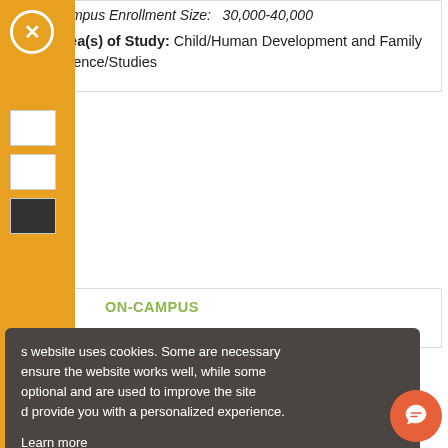Campus Enrollment Size:  30,000-40,000
Area(s) of Study:  Child/Human Development and Family Science/Studies
ON-CAMPUS
This website uses cookies. Some are necessary to ensure the website works well, while some are optional and are used to improve the site and provide you with a personalized experience. Learn more
Decline
Allow optional cookies